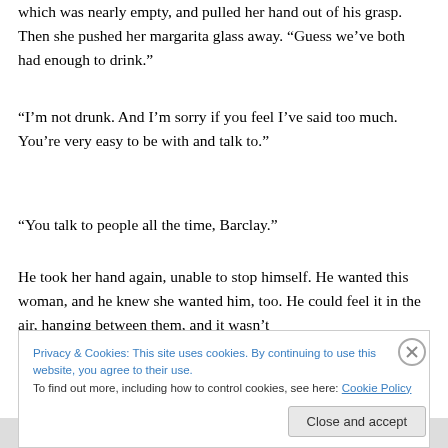which was nearly empty, and pulled her hand out of his grasp. Then she pushed her margarita glass away. “Guess we’ve both had enough to drink.”
“I’m not drunk. And I’m sorry if you feel I’ve said too much. You’re very easy to be with and talk to.”
“You talk to people all the time, Barclay.”
He took her hand again, unable to stop himself. He wanted this woman, and he knew she wanted him, too. He could feel it in the air, hanging between them, and it wasn’t
Privacy & Cookies: This site uses cookies. By continuing to use this website, you agree to their use.
To find out more, including how to control cookies, see here: Cookie Policy
Close and accept